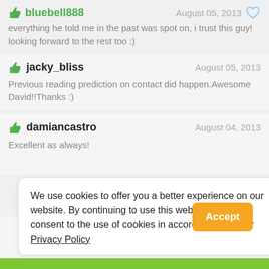bluebell888 — August 05, 2013 — everything he told me in the past was spot on, i trust this guy! looking forward to the rest too :)
jacky_bliss — August 05, 2013 — Previous reading prediction on contact did happen.Awesome David!!Thanks :)
damiancastro — August 04, 2013 — Excellent as always!
We use cookies to offer you a better experience on our website. By continuing to use this website, you consent to the use of cookies in accordance with our Privacy Policy